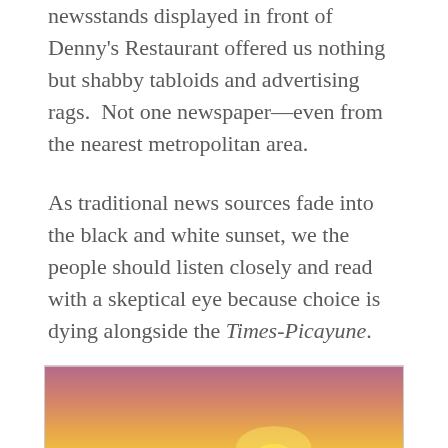newsstands displayed in front of Denny's Restaurant offered us nothing but shabby tabloids and advertising rags.  Not one newspaper—even from the nearest metropolitan area.
As traditional news sources fade into the black and white sunset, we the people should listen closely and read with a skeptical eye because choice is dying alongside the Times-Picayune.
[Figure (photo): Two people walking along a beach shoreline at sunset, silhouetted against warm orange and pink sky reflecting on wet sand]